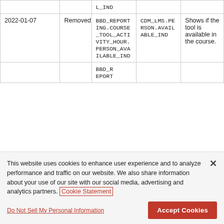| Date | Change Type | Field Name | Table Name | Description |
| --- | --- | --- | --- | --- |
|  |  | L_IND (truncated top) |  |  |
| 2022-01-07 | Removed | BBD_REPORTING.COURSE_TOOL_ACTIVITY_HOUR.PERSON_AVAILABLE_IND | CDM_LMS.PERSON.AVAILABLE_IND | Shows if the tool is available in the course. |
|  |  | BBD_REPORT... (truncated) |  |  |
This website uses cookies to enhance user experience and to analyze performance and traffic on our website. We also share information about your use of our site with our social media, advertising and analytics partners. Cookie Statement
Do Not Sell My Personal Information
Accept Cookies